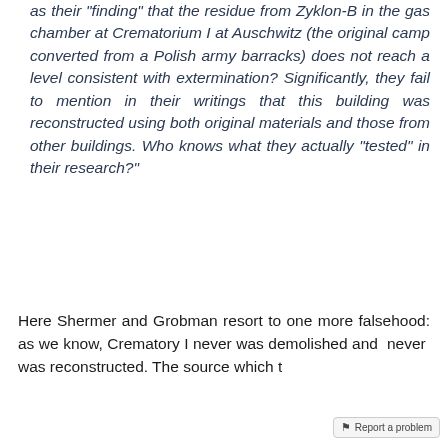as their "finding" that the residue from Zyklon-B in the gas chamber at Crematorium I at Auschwitz (the original camp converted from a Polish army barracks) does not reach a level consistent with extermination? Significantly, they fail to mention in their writings that this building was reconstructed using both original materials and those from other buildings. Who knows what they actually "tested" in their research?"
Here Shermer and Grobman resort to one more falsehood: as we know, Crematory I never was demolished and never was reconstructed. The source which they cite, the